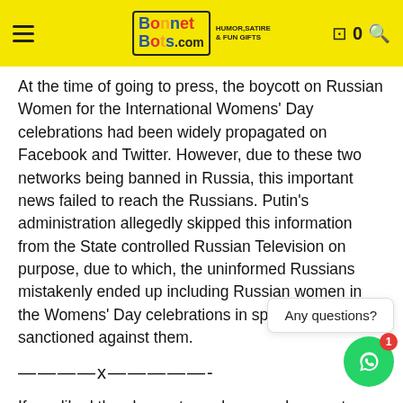BonnetBots.com — HUMOR, SATIRE & FUN GIFTS
At the time of going to press, the boycott on Russian Women for the International Womens' Day celebrations had been widely propagated on Facebook and Twitter. However, due to these two networks being banned in Russia, this important news failed to reach the Russians. Putin's administration allegedly skipped this information from the State controlled Russian Television on purpose, due to which, the uninformed Russians mistakenly ended up including Russian women in the Womens' Day celebrations in spite of the ban sanctioned against them.
————x—————-
If you liked the above story, please make sure to sign up for our weekly newsletter, which gives you full access to our fast-growing internet sensation BonnetBots.com Hurry-up! (unless you have already filled the subscription